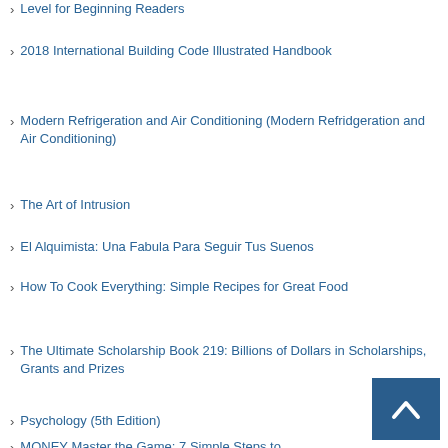Level for Beginning Readers
2018 International Building Code Illustrated Handbook
Modern Refrigeration and Air Conditioning (Modern Refridgeration and Air Conditioning)
The Art of Intrusion
El Alquimista: Una Fabula Para Seguir Tus Suenos
How To Cook Everything: Simple Recipes for Great Food
The Ultimate Scholarship Book 219: Billions of Dollars in Scholarships, Grants and Prizes
Psychology (5th Edition)
MONEY Master the Game: 7 Simple Steps to